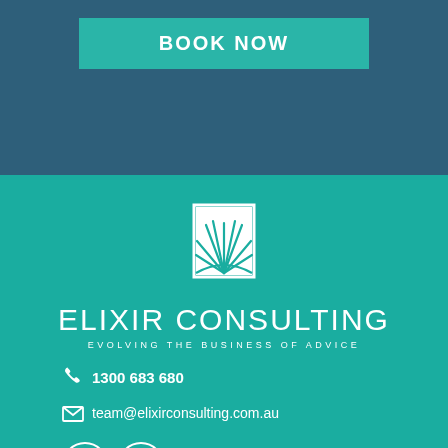BOOK NOW
[Figure (logo): Elixir Consulting logo: white sunburst/sunrise inside a white rectangle outline, on teal background]
ELIXIR CONSULTING
EVOLVING THE BUSINESS OF ADVICE
1300 683 680
team@elixirconsulting.com.au
[Figure (logo): LinkedIn and Facebook social media icons in white circles]